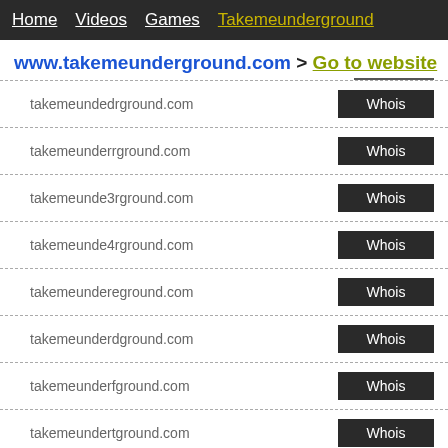Home  Videos  Games  Takemeunderground
www.takemeunderground.com > Go to website
takemeundedrground.com  Whois
takemeunderrground.com  Whois
takemeunde3rground.com  Whois
takemeunde4rground.com  Whois
takemeundereground.com  Whois
takemeunderdground.com  Whois
takemeunderfground.com  Whois
takemeundertground.com  Whois